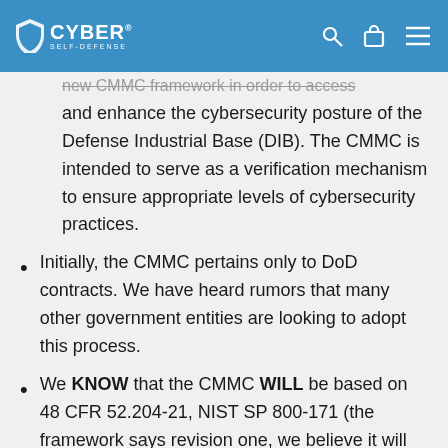CYBER SELF-DEFENSE
new CMMC framework in order to assess and enhance the cybersecurity posture of the Defense Industrial Base (DIB). The CMMC is intended to serve as a verification mechanism to ensure appropriate levels of cybersecurity practices.
Initially, the CMMC pertains only to DoD contracts. We have heard rumors that many other government entities are looking to adopt this process.
We KNOW that the CMMC WILL be based on 48 CFR 52.204-21, NIST SP 800-171 (the framework says revision one, we believe it will be version 2), and the Draft of NIST SP 800-171B (the framework